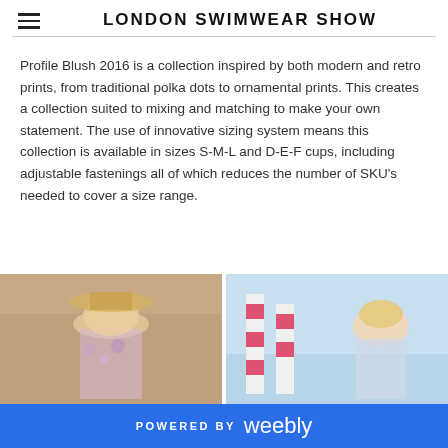LONDON SWIMWEAR SHOW
Profile Blush 2016 is a collection inspired by both modern and retro prints, from traditional polka dots to ornamental prints. This creates a collection suited to mixing and matching to make your own statement. The use of innovative sizing system means this collection is available in sizes S-M-L and D-E-F cups, including adjustable fastenings all of which reduces the number of SKU's needed to cover a size range.
[Figure (photo): Fashion photo of a woman wearing a hat and floral clothing, seated outdoors near a brick wall]
[Figure (photo): Fashion photo of a woman outdoors near what appears to be white and pink striped structures]
POWERED BY weebly